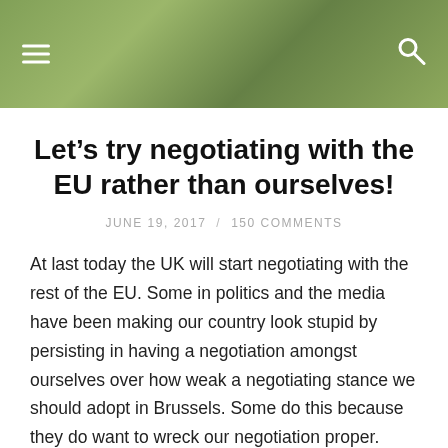John Redwood's Diary
Let’s try negotiating with the EU rather than ourselves!
JUNE 19, 2017 / 150 COMMENTS
At last today the UK will start negotiating with the rest of the EU. Some in politics and the media have been making our country look stupid by persisting in having a negotiation amongst ourselves over how weak a negotiating stance we should adopt in Brussels. Some do this because they do want to wreck our negotiation proper. Others do so because they do not understand how a serious negotiation is best handled, and doubt the